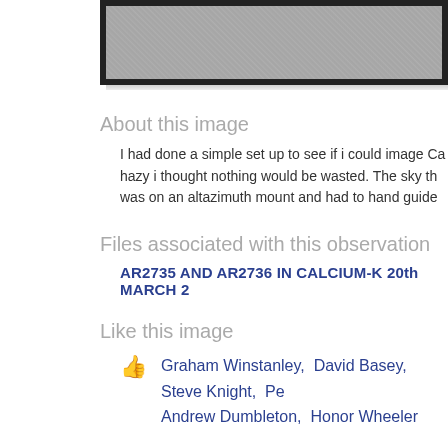[Figure (photo): Partial view of an astronomical image showing a grainy/textured gray surface, displayed in a black-bordered frame. The image appears to be a solar observation, cropped at the top and right.]
About this image
I had done a simple set up to see if i could image Ca hazy i thought nothing would be wasted. The sky th was on an altazimuth mount and had to hand guide
Files associated with this observation
AR2735 AND AR2736 IN CALCIUM-K 20th MARCH 2
Like this image
Graham Winstanley,  David Basey,  Steve Knight,  Pe Andrew Dumbleton,  Honor Wheeler